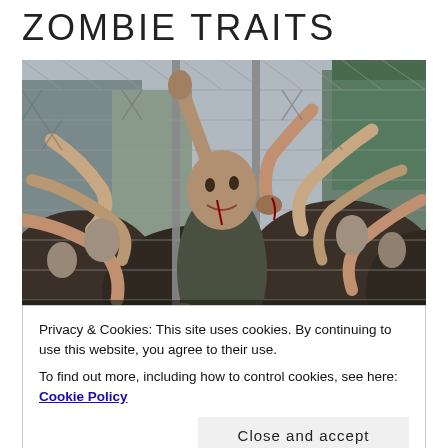ZOMBIE TRAITS
[Figure (photo): A crowd of zombie costumed people pressing against a chain-link fence, reaching through with bloody hands, set in an urban environment]
Privacy & Cookies: This site uses cookies. By continuing to use this website, you agree to their use.
To find out more, including how to control cookies, see here: Cookie Policy
Close and accept
appetite or someone bitten by another zombie infected